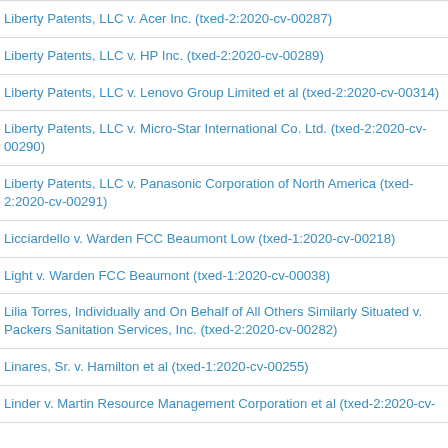Liberty Patents, LLC v. Acer Inc. (txed-2:2020-cv-00287)
Liberty Patents, LLC v. HP Inc. (txed-2:2020-cv-00289)
Liberty Patents, LLC v. Lenovo Group Limited et al (txed-2:2020-cv-00314)
Liberty Patents, LLC v. Micro-Star International Co. Ltd. (txed-2:2020-cv-00290)
Liberty Patents, LLC v. Panasonic Corporation of North America (txed-2:2020-cv-00291)
Licciardello v. Warden FCC Beaumont Low (txed-1:2020-cv-00218)
Light v. Warden FCC Beaumont (txed-1:2020-cv-00038)
Lilia Torres, Individually and On Behalf of All Others Similarly Situated v. Packers Sanitation Services, Inc. (txed-2:2020-cv-00282)
Linares, Sr. v. Hamilton et al (txed-1:2020-cv-00255)
Linder v. Martin Resource Management Corporation et al (txed-2:2020-cv-…)